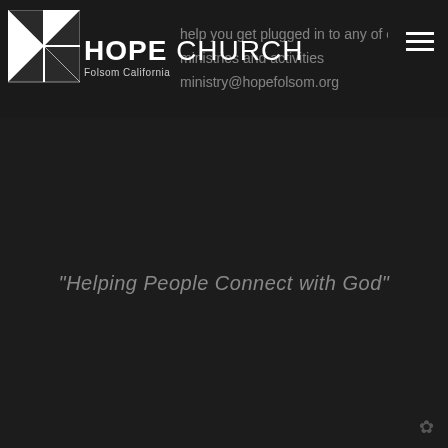Hope Church Folsom California — help you get plugged in to any of our ministries and activities — ministry@hopefolsom.org
"Helping People Connect with God"